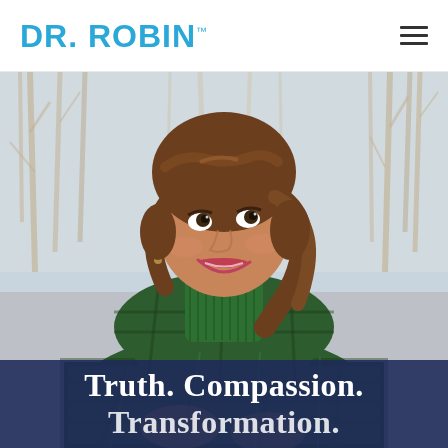DR. ROBIN™
[Figure (photo): A smiling woman with brown wavy hair, wearing a green plaid coat over a green turtleneck sweater, looking upward and to the right, standing outdoors among bare winter trees with a light sky background.]
Truth. Compassion. Transformation.